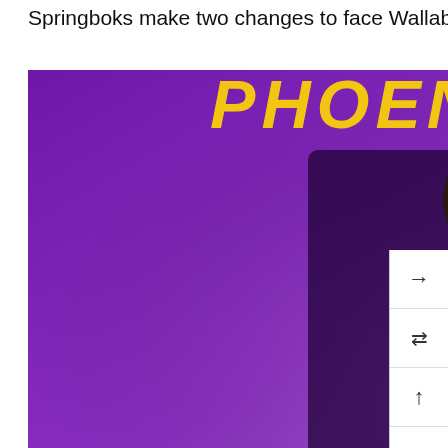Springboks make two changes to face Wallabies
[Figure (photo): Phoenix Suns NBA basketball player wearing jersey number 22 in purple 'sunburst' retro uniform, posing in front of newspaper collage background with purple neon lighting. 'PHOENIX SUNS' text visible at top.]
That '90s look: Suns bringing back classic 'sunburst' jerseys
[Figure (photo): Soccer/football players on a field, partially visible at bottom of page. Players appear to be celebrating or in action. One player wearing jersey with 'EMURA' visible.]